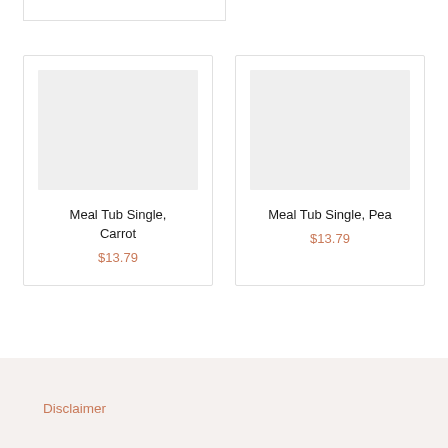[Figure (other): Partial product card cropped at top of page]
[Figure (other): Product card: Meal Tub Single, Carrot, $13.79]
Meal Tub Single, Carrot
$13.79
[Figure (other): Product card: Meal Tub Single, Pea, $13.79]
Meal Tub Single, Pea
$13.79
Disclaimer